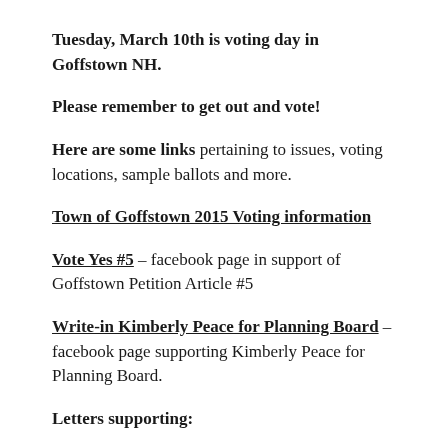Tuesday, March 10th is voting day in Goffstown NH.
Please remember to get out and vote!
Here are some links pertaining to issues, voting locations, sample ballots and more.
Town of Goffstown 2015 Voting information
Vote Yes #5 – facebook page in support of Goffstown Petition Article #5
Write-in Kimberly Peace for Planning Board – facebook page supporting Kimberly Peace for Planning Board.
Letters supporting: